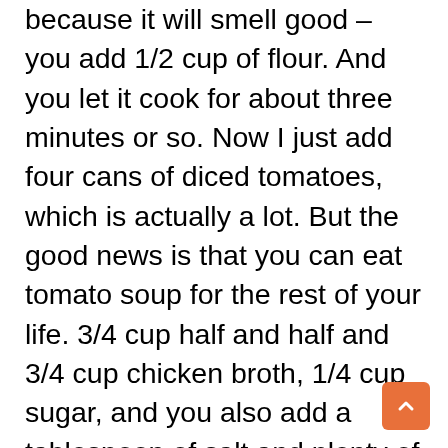because it will smell good – you add 1/2 cup of flour. And you let it cook for about three minutes or so. Now I just add four cans of diced tomatoes, which is actually a lot. But the good news is that you can eat tomato soup for the rest of your life. 3/4 cup half and half and 3/4 cup chicken broth, 1/4 cup sugar, and you also add a tablespoon of salt and plenty of pepper. It should be stirred regularly for half an hour. I'm skipping the celery salt, which you can also add, since I don't have any. So, fun fact: I hated soup growing up. I especially hated the tomato soup. It was just like coarse tomato water. One day, I was bored and decided to make this recipe, and found that under the right circumstances, I will enjoy a good soup. So, now I'm going to add 2 tbsp of honey